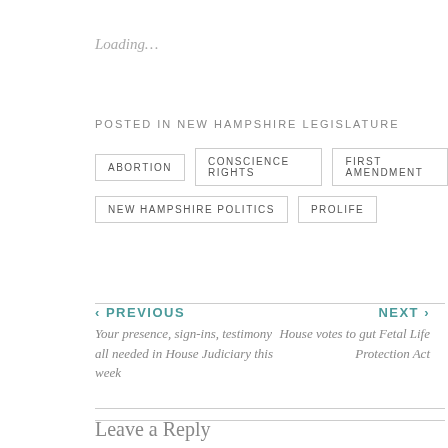Loading…
POSTED IN NEW HAMPSHIRE LEGISLATURE
ABORTION
CONSCIENCE RIGHTS
FIRST AMENDMENT
NEW HAMPSHIRE POLITICS
PROLIFE
‹ PREVIOUS
Your presence, sign-ins, testimony all needed in House Judiciary this week
NEXT ›
House votes to gut Fetal Life Protection Act
Leave a Reply